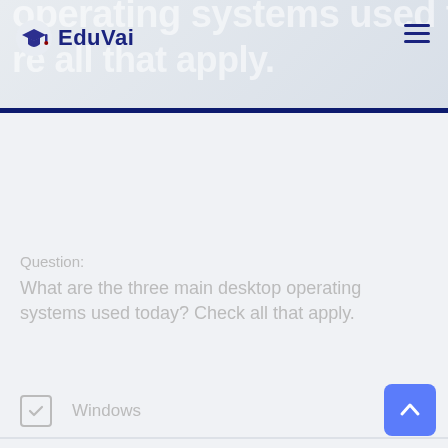EduVai
Question:
What are the three main desktop operating systems used today? Check all that apply.
Windows
MacOS
Linux